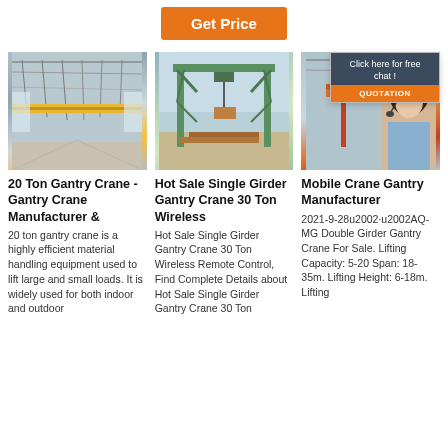[Figure (other): Orange 'Get Price' button at top center]
[Figure (photo): Interior of industrial warehouse with yellow overhead gantry crane]
[Figure (photo): Large green single girder gantry crane outdoors]
[Figure (photo): Industrial gantry crane with 24/7 Online chat overlay and customer service representative]
20 Ton Gantry Crane - Gantry Crane Manufacturer &
20 ton gantry crane is a highly efficient material handling equipment used to lift large and small loads. It is widely used for both indoor and outdoor
Hot Sale Single Girder Gantry Crane 30 Ton Wireless
Hot Sale Single Girder Gantry Crane 30 Ton Wireless Remote Control, Find Complete Details about Hot Sale Single Girder Gantry Crane 30 Ton
Mobile Crane Gantry Manufacturer
2021-9-28u2002·u2002AQ-MG Double Girder Gantry Crane For Sale. Lifting Capacity: 5-20 Span: 18-35m. Lifting Height: 6-18m. Lifting